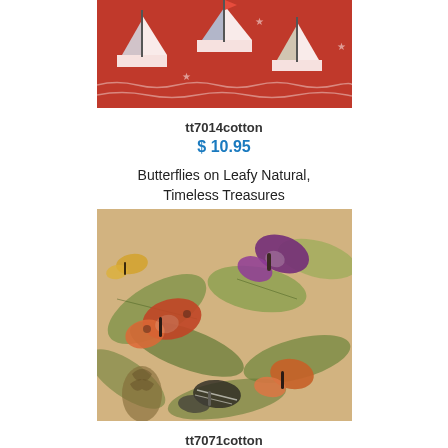[Figure (photo): Sailboats fabric pattern on red background - partial view at top]
tt7014cotton
$ 10.95
Butterflies on Leafy Natural, Timeless Treasures
[Figure (photo): Butterflies on leafy natural fabric - colorful butterflies on tropical leaves background]
tt7071cotton
$ 10.95
Sandy Shores, Timeless Treasures
[Figure (photo): Sandy Shores fabric pattern - partial view at bottom]